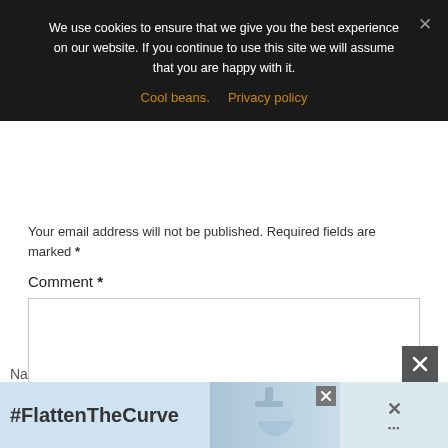We use cookies to ensure that we give you the best experience on our website. If you continue to use this site we will assume that you are happy with it.
Cool beans.   Privacy policy
Your email address will not be published. Required fields are marked *
Comment *
[Figure (screenshot): Comment text area input box, empty]
Na
[Figure (screenshot): Bottom advertisement banner with #FlattenTheCurve text and hand washing image]